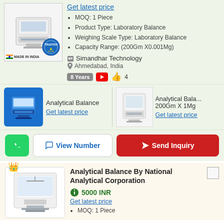[Figure (photo): Analytical balance / laboratory scale product image with Made in India flag label and Trusted stamp]
Get latest price
MOQ: 1 Piece
Product Type: Laboratory Balance
Weighing Scale Type: Laboratory Balance
Capacity Range: (200Gm X0.001Mg)
Simandhar Technology
Ahmedabad, India
8 Years  4
[Figure (photo): Analytical Balance product image on blue background]
Analytical Balance
Get latest price
[Figure (photo): Analytical Balance 200Gm X 1Mg product image]
Analytical Bala... 200Gm X 1Mg
Get latest price
View Number
Send Inquiry
Analytical Balance By National Analytical Corporation
5000 INR
Get latest price
MOQ: 1 Piece